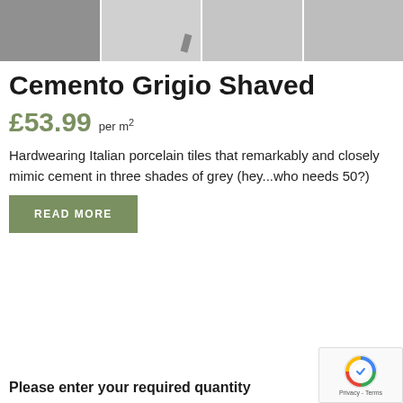[Figure (photo): Four thumbnail images of grey stone/cement-look tiles arranged in a horizontal strip at the top of the page]
Cemento Grigio Shaved
£53.99 per m²
Hardwearing Italian porcelain tiles that remarkably and closely mimic cement in three shades of grey (hey...who needs 50?)
READ MORE
Please enter your required quantity